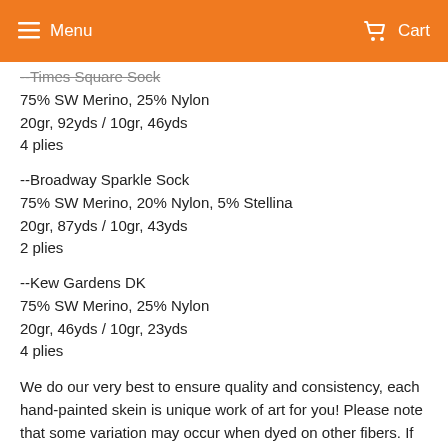Menu  Cart
--Times Square Sock (partial, cropped)
75% SW Merino, 25% Nylon
20gr, 92yds / 10gr, 46yds
4 plies
--Broadway Sparkle Sock
75% SW Merino, 20% Nylon, 5% Stellina
20gr, 87yds / 10gr, 43yds
2 plies
--Kew Gardens DK
75% SW Merino, 25% Nylon
20gr, 46yds / 10gr, 23yds
4 plies
We do our very best to ensure quality and consistency, each hand-painted skein is unique work of art for you! Please note that some variation may occur when dyed on other fibers. If you have any questions, please feel free to ask.